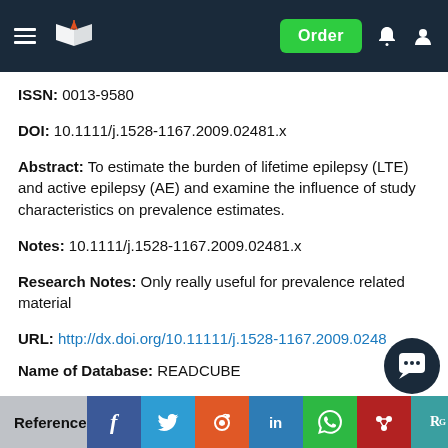Header navigation bar with logo, Order button, notification and user icons
ISSN: 0013-9580
DOI: 10.1111/j.1528-1167.2009.02481.x
Abstract: To estimate the burden of lifetime epilepsy (LTE) and active epilepsy (AE) and examine the influence of study characteristics on prevalence estimates.
Notes: 10.1111/j.1528-1167.2009.02481.x
Research Notes: Only really useful for prevalence related material
URL: http://dx.doi.org/10.11111/j.1528-1167.2009.0248...
Name of Database: READCUBE
Reference ... social share bar (Facebook, Twitter, Reddit, LinkedIn, WhatsApp, Mendeley, ResearchGate)